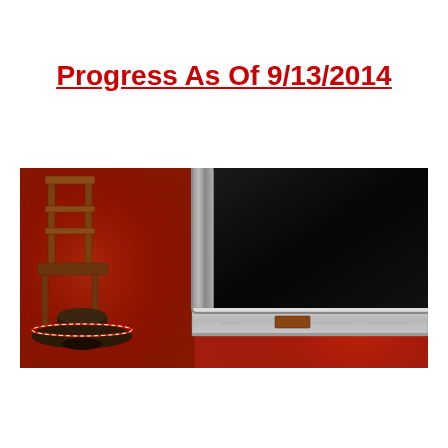Progress As Of 9/13/2014
[Figure (photo): A wide panoramic photo showing a red carpeted interior scene. On the left side is a wooden chair or furniture piece with a sombrero hat on the floor. In the center-right is the corner post and door sill of what appears to be a classic car, with a chrome door sill plate and small emblem, against the red carpet background.]